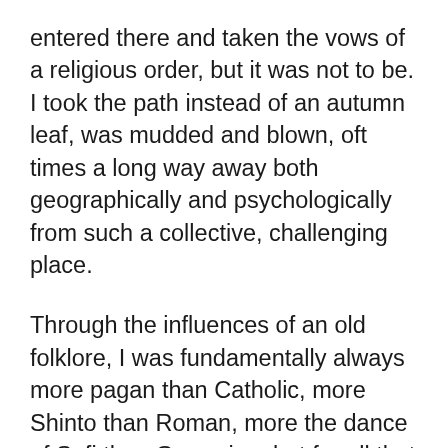entered there and taken the vows of a religious order, but it was not to be. I took the path instead of an autumn leaf, was mudded and blown, oft times a long way away both geographically and psychologically from such a collective, challenging place.
Through the influences of an old folklore, I was fundamentally always more pagan than Catholic, more Shinto than Roman, more the dance of Sufi than Gregorian, but for all that the Abbey then had a rhythm, had a chant and a Latin mass which attracted me. Often as the dark of night was being tilted